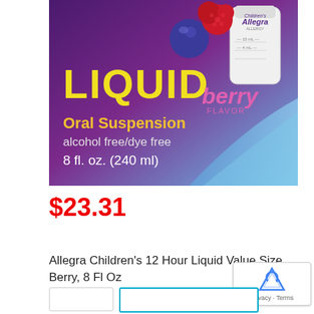[Figure (photo): Children's Allegra Liquid berry flavor product box — purple background with berry imagery, yellow 'LIQUID' text, gold 'Oral Suspension alcohol free/dye free 8 fl. oz. (240 ml)' text, pink 'berry FLAVOR' text, white Allegra measuring cup bottle]
$23.31
Allegra Children's 12 Hour Liquid Value Size, Berry, 8 Fl Oz
In stock